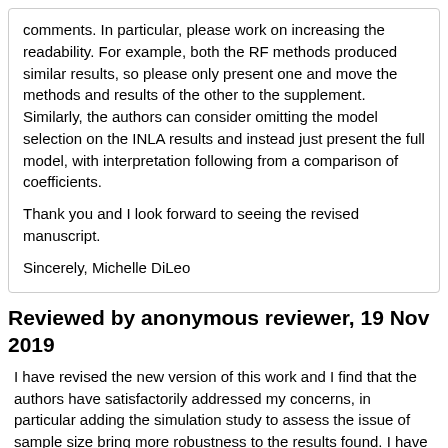comments. In particular, please work on increasing the readability. For example, both the RF methods produced similar results, so please only present one and move the methods and results of the other to the supplement. Similarly, the authors can consider omitting the model selection on the INLA results and instead just present the full model, with interpretation following from a comparison of coefficients.
Thank you and I look forward to seeing the revised manuscript.
Sincerely, Michelle DiLeo
Reviewed by anonymous reviewer, 19 Nov 2019
I have revised the new version of this work and I find that the authors have satisfactorily addressed my concerns, in particular adding the simulation study to assess the issue of sample size bring more robustness to the results found. I have only very few minor comments. Overall I think this is an interesting study, which contributes to understand the relationship between urbanization and population dynamics of invasive fauna.
Specific comments: Ln223: of a minimum of 20 captured...